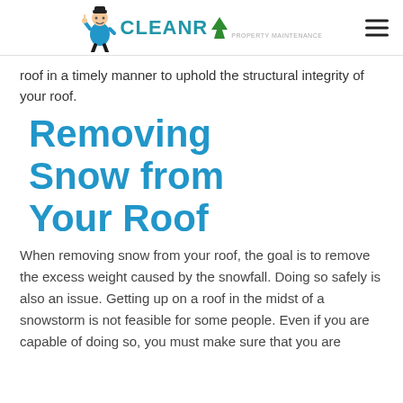CLEANR
roof in a timely manner to uphold the structural integrity of your roof.
Removing Snow from Your Roof
When removing snow from your roof, the goal is to remove the excess weight caused by the snowfall. Doing so safely is also an issue. Getting up on a roof in the midst of a snowstorm is not feasible for some people. Even if you are capable of doing so, you must make sure that you are